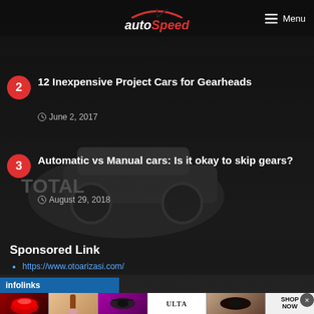[Figure (screenshot): AutoSpeed website screenshot showing header with logo, navigation menu button, and article listings on dark background with racing car image]
autoSpeed | Menu
12 Inexpensive Project Cars for Gearheads
June 2, 2017
Automatic vs Manual cars: Is it okay to skip gears?
August 29, 2018
Sponsored Link
https://www.otoarizasi.com/
[Figure (screenshot): Infolinks advertisement banner with beauty/makeup ad images and ULTA Beauty logo and SHOP NOW call to action]